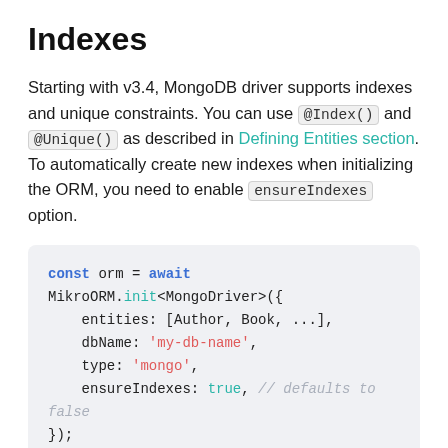Indexes
Starting with v3.4, MongoDB driver supports indexes and unique constraints. You can use @Index() and @Unique() as described in Defining Entities section. To automatically create new indexes when initializing the ORM, you need to enable ensureIndexes option.
const orm = await MikroORM.init<MongoDriver>({
  entities: [Author, Book, ...],
  dbName: 'my-db-name',
  type: 'mongo',
  ensureIndexes: true, // defaults to false
});
Alternatively you can call ensureIndexes() method